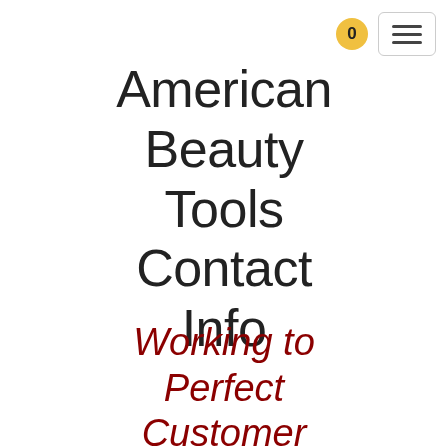0 ☰
American Beauty Tools Contact Info
Working to Perfect Customer Service, Everyday!